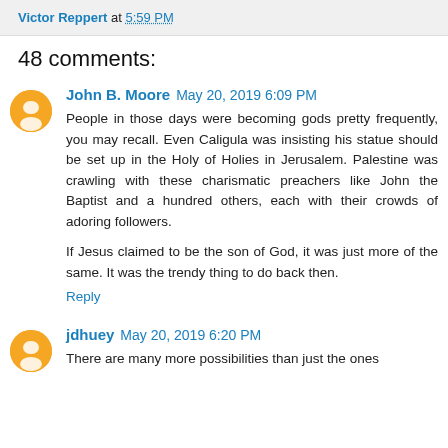Victor Reppert at 5:59 PM
48 comments:
John B. Moore  May 20, 2019 6:09 PM
People in those days were becoming gods pretty frequently, you may recall. Even Caligula was insisting his statue should be set up in the Holy of Holies in Jerusalem. Palestine was crawling with these charismatic preachers like John the Baptist and a hundred others, each with their crowds of adoring followers.
If Jesus claimed to be the son of God, it was just more of the same. It was the trendy thing to do back then.
Reply
jdhuey  May 20, 2019 6:20 PM
There are many more possibilities than just the ones